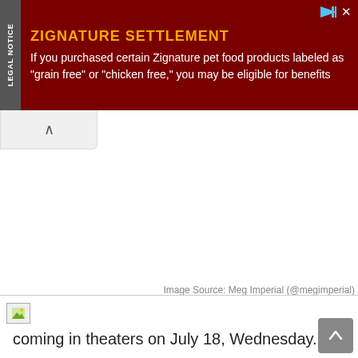[Figure (infographic): Advertisement banner for Zignature Settlement legal notice. Dark red background with gold title 'ZIGNATURE SETTLEMENT' and white body text. 'LEGAL NOTICE' rotated vertically on left side.]
Image Source: Meg Imperial (@megimperial)
Meg also posted a photo that the movie will be coming in theaters on July 18, Wednesday.
“#JacquelineComesHome – Showing on JULY 18, 2018 NOTE: Actually 6 days na lang! Haha”